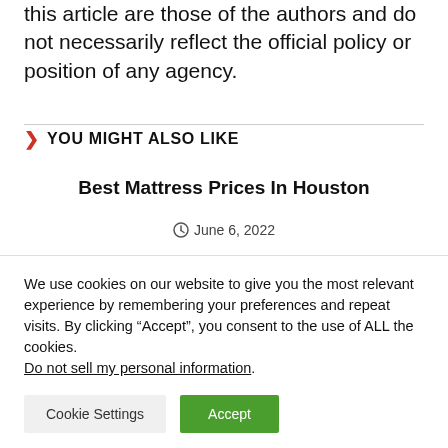this article are those of the authors and do not necessarily reflect the official policy or position of any agency.
You Might Also Like
Best Mattress Prices In Houston
June 6, 2022
We use cookies on our website to give you the most relevant experience by remembering your preferences and repeat visits. By clicking “Accept”, you consent to the use of ALL the cookies. Do not sell my personal information.
Cookie Settings
Accept